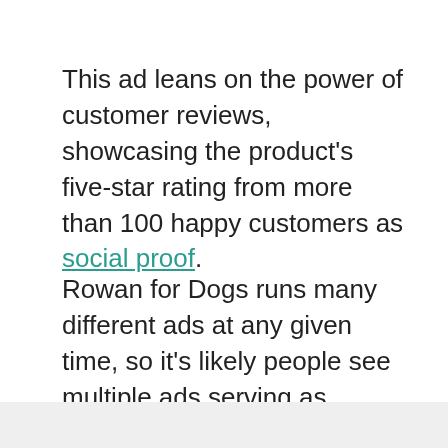This ad leans on the power of customer reviews, showcasing the product's five-star rating from more than 100 happy customers as social proof.
Rowan for Dogs runs many different ads at any given time, so it's likely people see multiple ads serving as reminders of the brand and its products. This mix of ad creative can keep you top of mind while preventing ad fatigue from your audience.